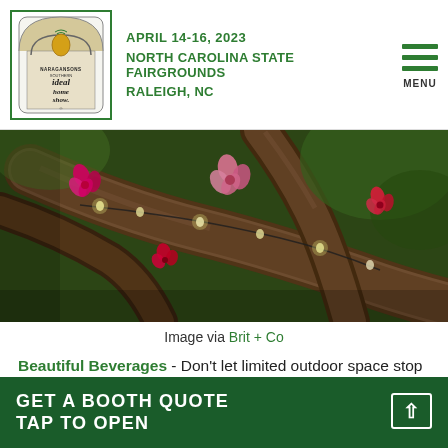APRIL 14-16, 2023 NORTH CAROLINA STATE FAIRGROUNDS RALEIGH, NC
[Figure (photo): Close-up photo of tree branches with pink and red flower decorations and small lights wrapped around them, with green foliage in the background.]
Image via Brit + Co
Beautiful Beverages - Don't let limited outdoor space stop you from throwing one heck of a shindig! Lil Luna has the perfect solution to the overcrowding that comes from your typical beverage station. Some industrial piping and a few buckets is all you need to recreate this
GET A BOOTH QUOTE TAP TO OPEN